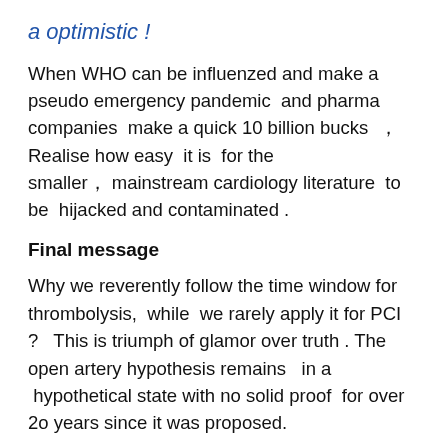a optimistic  !
When WHO can be influenzed and make a pseudo emergency pandemic  and pharma companies  make a quick 10 billion bucks  ,  Realise how easy  it is  for the smaller ,  mainstream cardiology literature  to be  hijacked and contaminated .
Final message
Why we reverently follow the time window for thrombolysis,  while  we rarely apply it for PCI ?   This is triumph of glamor over truth . The open artery hypothesis remains   in a  hypothetical state with no solid proof  for over 2o years since it was proposed.
Apply your mind in every  patient ,  do a conscious decision  to either thrombolyse  -  PCI or none   All the